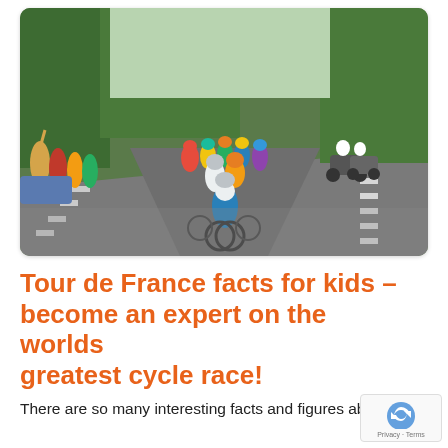[Figure (photo): A group of cyclists racing on a road during the Tour de France, with spectators on the left and motorcycles following on the right. Green trees line the background. A rider in a blue jersey leads the peloton.]
Tour de France facts for kids – become an expert on the worlds greatest cycle race!
There are so many interesting facts and figures about the Tour de France – how many do you know?